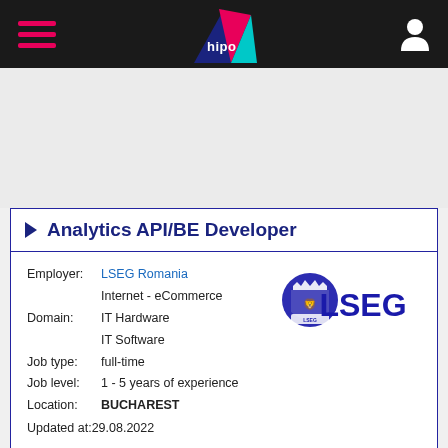hipo
Analytics API/BE Developer
Employer: LSEG Romania
Internet - eCommerce
Domain: IT Hardware
IT Software
Job type: full-time
Job level: 1 - 5 years of experience
Location: BUCHAREST
Updated at: 29.08.2022
[Figure (logo): LSEG logo with blue crest and LSEG text in blue]